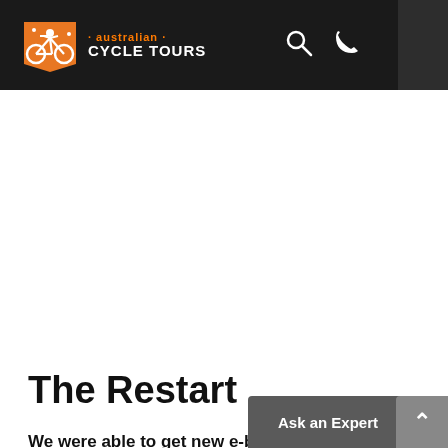Australian Cycle Tours
The Restart
We were able to get new e-bikes sourced for Linda and Mo. They also were only able to hold the continuation of the